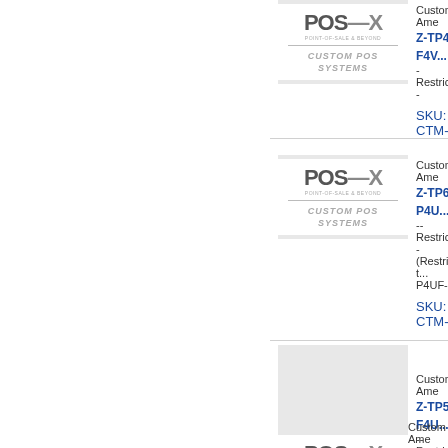[Figure (logo): POS-X Custom POS Systems logo — first product row]
Custom Ame... Z-TP4D-F4V... -Restricted-- SKU: CTM-9...
[Figure (logo): POS-X Custom POS Systems logo — second product row]
Custom Ame... Z-TP6D-P4U... --Restricted-- (Restricted t... P4UF-93) SKU: CTM-9...
[Figure (logo): POS-X Custom POS Systems logo — third product row]
Custom Ame... Z-TP5E-F4U... --Restricted-- F4UF-64) SKU: CTM-9...
Custom Ame...